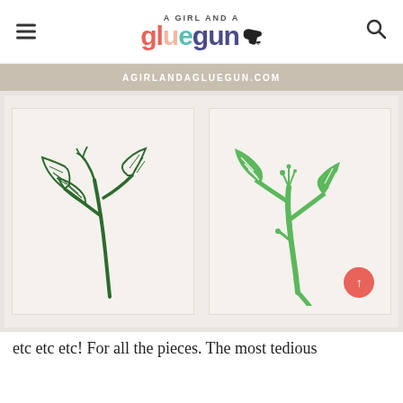A GIRL AND A gluegun
[Figure (photo): Two plant branch illustrations on paper: left shows a dark green outlined branch with leaves and a small flower bud; right shows a bright green silhouette-style branch with leaves. Website watermark bar reads AGIRLANDAGLUEGUN.COM above the images.]
etc etc etc! For all the pieces. The most tedious